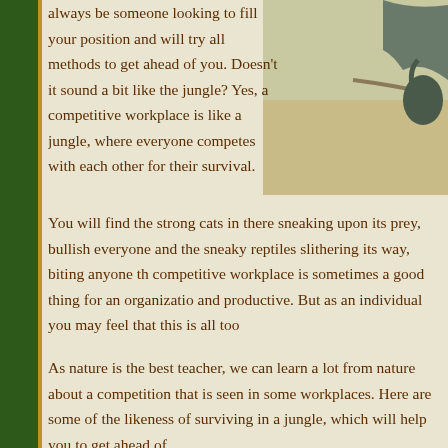[Figure (illustration): Illustration showing a jungle/animal scene in the upper right corner, with muted green, beige and grey tones]
always be someone looking to fill your position and will try all methods to get ahead of you. Doesn't it sound a bit like the jungle? Yes, a competitive workplace is like a jungle, where everyone competes with each other for their survival.
You will find the strong cats in there sneaking upon its prey, bullish everyone and the sneaky reptiles slithering its way, biting anyone th competitive workplace is sometimes a good thing for an organizatio and productive. But as an individual you may feel that this is all too
As nature is the best teacher, we can learn a lot from nature about a competition that is seen in some workplaces. Here are some of the likeness of surviving in a jungle, which will help you to get ahead of
Survival of the ‘skillest’
This is in analogy to the popular concept of “survival of the fittest” p Charles Darwin; which states that the fittest always survives and mo